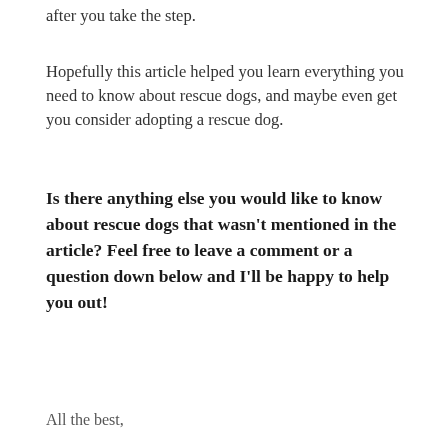after you take the step.
Hopefully this article helped you learn everything you need to know about rescue dogs, and maybe even get you consider adopting a rescue dog.
Is there anything else you would like to know about rescue dogs that wasn’t mentioned in the article? Feel free to leave a comment or a question down below and I’ll be happy to help you out!
All the best,